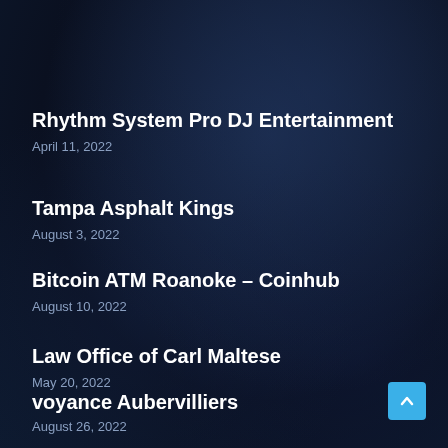Rhythm System Pro DJ Entertainment
April 11, 2022
Tampa Asphalt Kings
August 3, 2022
Bitcoin ATM Roanoke – Coinhub
August 10, 2022
Law Office of Carl Maltese
May 20, 2022
voyance Aubervilliers
August 26, 2022